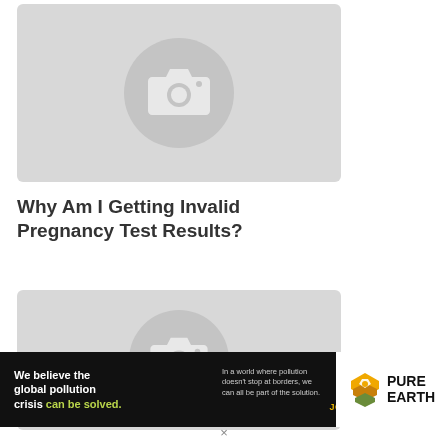[Figure (photo): Image placeholder with camera icon on grey background (top)]
Why Am I Getting Invalid Pregnancy Test Results?
[Figure (photo): Image placeholder with camera icon on grey background (bottom)]
[Figure (illustration): Pure Earth advertisement banner: 'We believe the global pollution crisis can be solved. In a world where pollution doesn't stop at borders, we can all be part of the solution. JOIN US.' with Pure Earth logo]